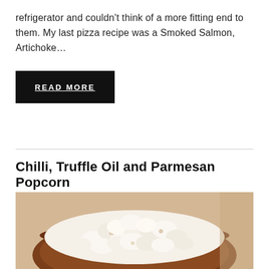refrigerator and couldn't think of a more fitting end to them. My last pizza recipe was a Smoked Salmon, Artichoke…
READ MORE
Chilli, Truffle Oil and Parmesan Popcorn
[Figure (photo): A wooden bowl filled with white popcorn, viewed from slightly above, on a light wooden surface.]